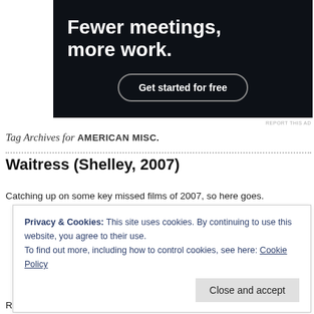[Figure (other): Dark advertisement banner with white bold text 'Fewer meetings, more work.' and a 'Get started for free' button with rounded border.]
REPORT THIS AD
Tag Archives for AMERICAN MISC.
Waitress (Shelley, 2007)
Catching up on some key missed films of 2007, so here goes.
Privacy & Cookies: This site uses cookies. By continuing to use this website, you agree to their use.
To find out more, including how to control cookies, see here: Cookie Policy
Close and accept
Russell's titular waitress Jenna walks like a zombie through a rotten